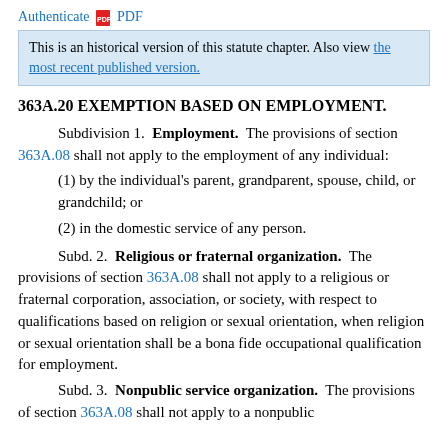Authenticate PDF
This is an historical version of this statute chapter. Also view the most recent published version.
363A.20 EXEMPTION BASED ON EMPLOYMENT.
Subdivision 1. Employment. The provisions of section 363A.08 shall not apply to the employment of any individual:
(1) by the individual's parent, grandparent, spouse, child, or grandchild; or
(2) in the domestic service of any person.
Subd. 2. Religious or fraternal organization. The provisions of section 363A.08 shall not apply to a religious or fraternal corporation, association, or society, with respect to qualifications based on religion or sexual orientation, when religion or sexual orientation shall be a bona fide occupational qualification for employment.
Subd. 3. Nonpublic service organization. The provisions of section 363A.08 shall not apply to a nonpublic